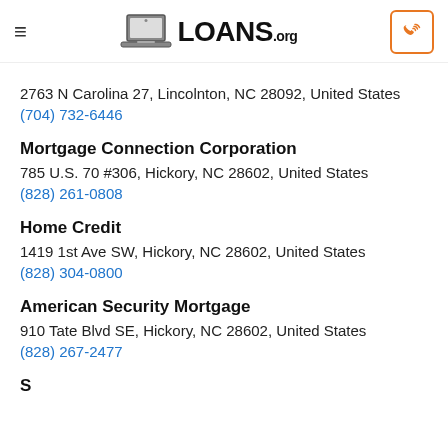LOANS.org
2763 N Carolina 27, Lincolnton, NC 28092, United States
(704) 732-6446
Mortgage Connection Corporation
785 U.S. 70 #306, Hickory, NC 28602, United States
(828) 261-0808
Home Credit
1419 1st Ave SW, Hickory, NC 28602, United States
(828) 304-0800
American Security Mortgage
910 Tate Blvd SE, Hickory, NC 28602, United States
(828) 267-2477
S...